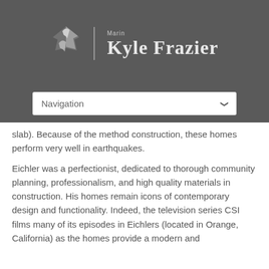[Figure (logo): Marin | Kyle Frazier logo with stylized bird/map icon and serif name text on dark grey background]
[Figure (screenshot): Navigation dropdown selector UI element with white background and chevron arrow]
slab). Because of the method construction, these homes perform very well in earthquakes.
Eichler was a perfectionist, dedicated to thorough community planning, professionalism, and high quality materials in construction. His homes remain icons of contemporary design and functionality. Indeed, the television series CSI films many of its episodes in Eichlers (located in Orange, California) as the homes provide a modern and